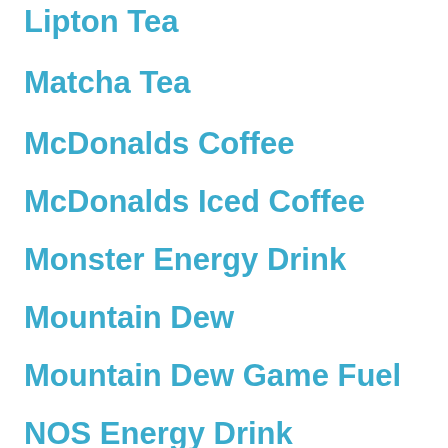Lipton Tea
Matcha Tea
McDonalds Coffee
McDonalds Iced Coffee
Monster Energy Drink
Mountain Dew
Mountain Dew Game Fuel
NOS Energy Drink
Oolong Tea
Peet's Brewed Coffee